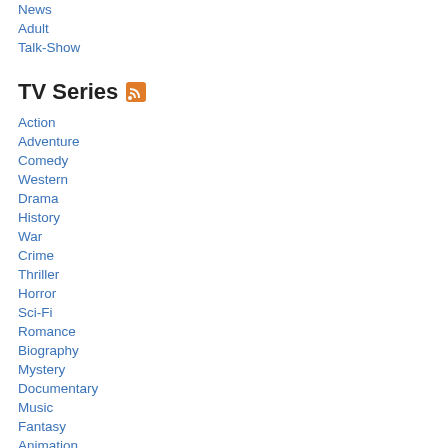News 124
Adult 131
Talk-Show 44
TV Series
Action 982
Adventure 946
Comedy 2898
Western 57
Drama 3000
History 191
War 98
Crime 993
Thriller 928
Horror 322
Sci-Fi 895
Romance 426
Biography 91
Mystery 824
Documentary 298
Music 124
Fantasy 778
Animation 1206
[Figure (photo): Alice in Wonderland movie/show cover image showing Cheshire cat on green background]
Alice in Wonderland
[Figure (photo): Appointment with Danger movie poster featuring Alan Ladd and Phyllis Calvert]
Appointment with Danger
[Figure (photo): Third movie card, mostly blank/white with partial image visible]